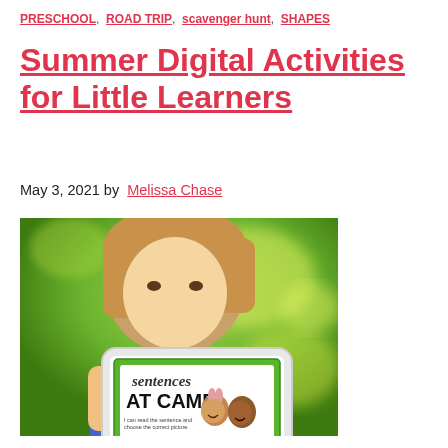PRESCHOOL, ROAD TRIP, scavenger hunt, SHAPES
Summer Digital Activities for Little Learners
May 3, 2021 by Melissa Chase
[Figure (photo): A young child holding up a tablet displaying an educational activity titled 'sentences AT CAMP' with cartoon characters and text 'I can read the sentence and choose the correct picture' and 'Type name here.' The background is a blurred green outdoor scene.]